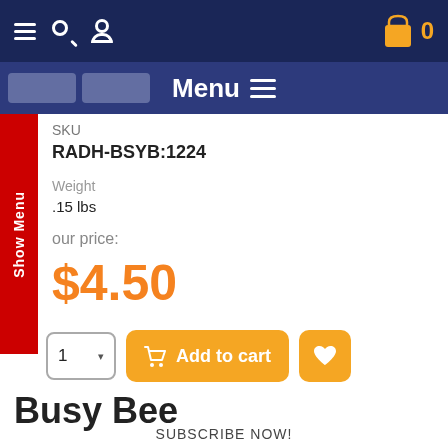Navigation bar with hamburger menu, search, user icon, cart icon, and item count 0
Menu ≡
SKU
RADH-BSYB:1224
Weight
.15 lbs
our price:
$4.50
Show Menu
1  ▾   Add to cart  ♥
Busy Bee
SUBSCRIBE NOW!